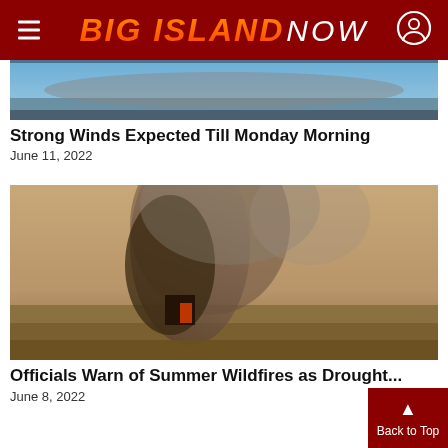BIG ISLAND NOW
[Figure (photo): Mountain landscape with blue sky and clouds, partially visible at top of page]
Strong Winds Expected Till Monday Morning
June 11, 2022
[Figure (photo): Wildfire smoke and fire in a dry field with brown grass]
Officials Warn of Summer Wildfires as Drought...
June 8, 2022